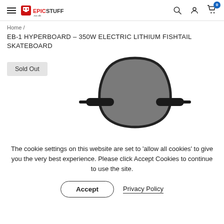EPICSTUFF.co.uk — navigation header with hamburger menu, logo, search, account, and cart icons
Home /
EB-1 HYPERBOARD – 350W ELECTRIC LITHIUM FISHTAIL SKATEBOARD
[Figure (photo): Top-down view of a dark grey electric fishtail skateboard with black trucks, shown against a white background. A 'Sold Out' button is overlaid on the left side.]
The cookie settings on this website are set to 'allow all cookies' to give you the very best experience. Please click Accept Cookies to continue to use the site.
Accept  Privacy Policy